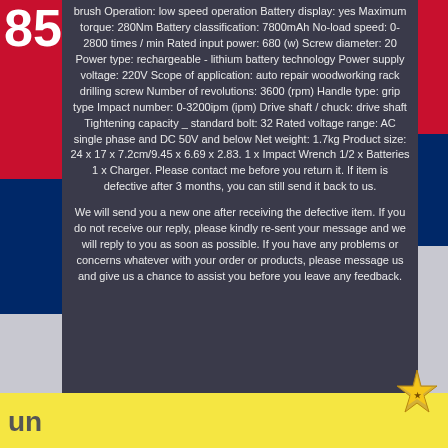brush Operation: low speed operation Battery display: yes Maximum torque: 280Nm Battery classification: 7800mAh No-load speed: 0-2800 times / min Rated input power: 680 (w) Screw diameter: 20 Power type: rechargeable - lithium battery technology Power supply voltage: 220V Scope of application: auto repair woodworking rack drilling screw Number of revolutions: 3600 (rpm) Handle type: grip type Impact number: 0-3200ipm (ipm) Drive shaft / chuck: drive shaft Tightening capacity _ standard bolt: 32 Rated voltage range: AC single phase and DC 50V and below Net weight: 1.7kg Product size: 24 x 17 x 7.2cm/9.45 x 6.69 x 2.83. 1 x Impact Wrench 1/2 x Batteries 1 x Charger. Please contact me before you return it. If item is defective after 3 months, you can still send it back to us.
We will send you a new one after receiving the defective item. If you do not receive our reply, please kindly re-sent your message and we will reply to you as soon as possible. If you have any problems or concerns whatever with your order or products, please message us and give us a chance to assist you before you leave any feedback.